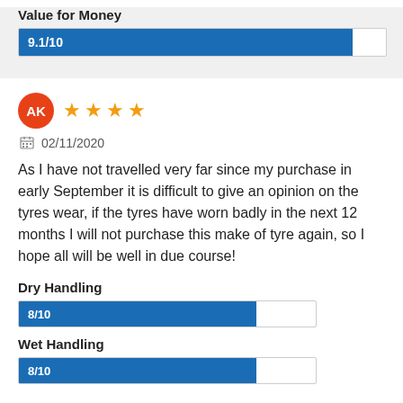[Figure (bar-chart): Value for Money]
Value for Money
AK
4 stars
02/11/2020
As I have not travelled very far since my purchase in early September it is difficult to give an opinion on the tyres wear, if the tyres have worn badly in the next 12 months I will not purchase this make of tyre again, so I hope all will be well in due course!
Dry Handling
[Figure (bar-chart): Dry Handling]
Wet Handling
[Figure (bar-chart): Wet Handling]